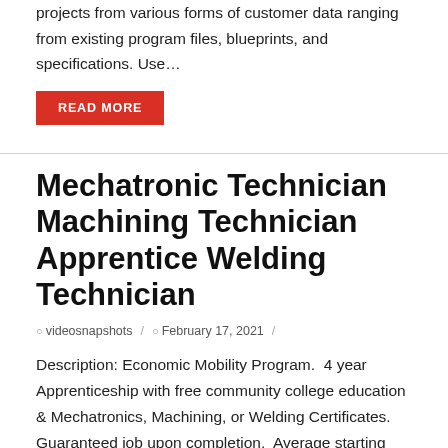projects from various forms of customer data ranging from existing program files, blueprints, and specifications. Use...
READ MORE
Mechatronic Technician Machining Technician Apprentice Welding Technician
videosnapshots / February 17, 2021 /
Description: Economic Mobility Program.  4 year Apprenticeship with free community college education & Mechatronics, Machining, or Welding Certificates.  Guaranteed job upon completion.  Average starting wage: up to $55,000